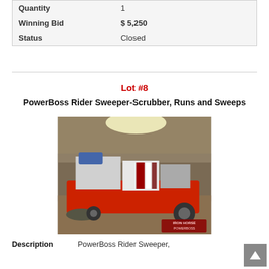| Field | Value |
| --- | --- |
| Quantity | 1 |
| Winning Bid | $ 5,250 |
| Status | Closed |
Lot #8
PowerBoss Rider Sweeper-Scrubber, Runs and Sweeps
[Figure (photo): Photo of a PowerBoss Rider Sweeper-Scrubber machine inside a warehouse/industrial building. The machine is red and white with a blue seat, shown from the side with brushes visible at the front. An 'Iron Horse' watermark/logo appears in the bottom right of the image.]
Description    PowerBoss Rider Sweeper,